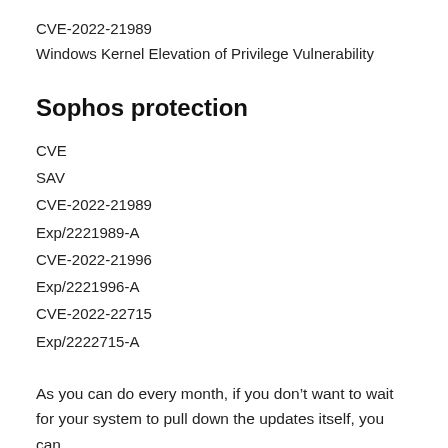CVE-2022-21989
Windows Kernel Elevation of Privilege Vulnerability
Sophos protection
CVE
SAV
CVE-2022-21989
Exp/2221989-A
CVE-2022-21996
Exp/2221996-A
CVE-2022-22715
Exp/2222715-A
As you can do every month, if you don’t want to wait for your system to pull down the updates itself, you can